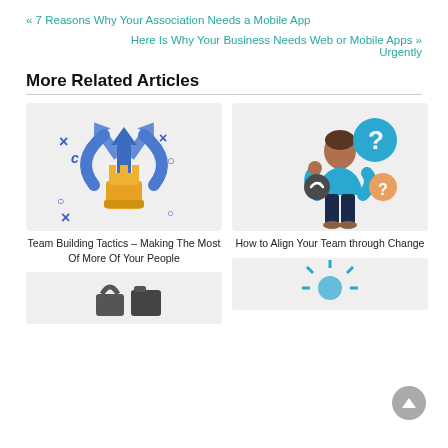« 7 Reasons Why Your Association Needs a Mobile App
Here Is Why Your Business Needs Web or Mobile Apps » Urgently
More Related Articles
[Figure (illustration): Chess piece (rook) with blue arrows pointing upward and outward, representing team building strategy, on a light gray background]
Team Building Tactics – Making The Most Of More Of Your People
[Figure (illustration): Person in blue shirt thinking with question marks around their head, representing confusion or decision-making, on a light gray background]
How to Align Your Team through Change
[Figure (illustration): Partial view of another article image at the bottom left]
[Figure (illustration): Partial view of another article image at the bottom right]